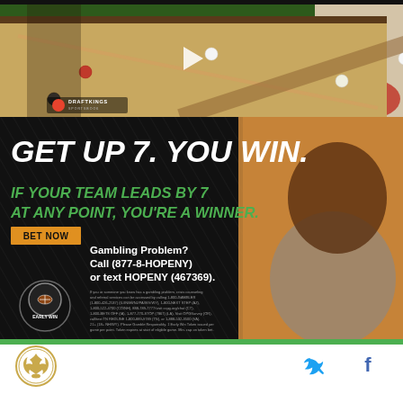[Figure (photo): DraftKings Sportsbook video thumbnail showing a pool/billiards table with players in the background. DraftKings logo visible at bottom left of thumbnail with play button overlay.]
[Figure (photo): DraftKings 'Early Win' advertisement on dark background with white and green text: 'GET UP 7. YOU WIN.' and 'IF YOUR TEAM LEADS BY 7 AT ANY POINT, YOU'RE A WINNER.' with orange BET NOW button. Kevin Hart smiling and pointing, wearing gray DraftKings shirt. Early Win badge at bottom left. Gambling disclaimer text at bottom.]
[Figure (logo): New Orleans Saints team logo circle at bottom left of page footer.]
[Figure (other): Twitter bird icon (blue) and Facebook 'f' icon (blue) social sharing buttons at bottom right of page.]